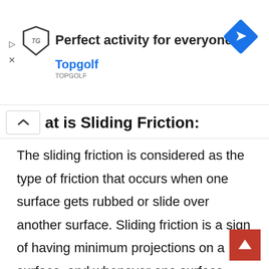[Figure (other): Advertisement banner for Topgolf: logo, text 'Perfect activity for everyone', 'Topgolf', and a blue diamond arrow icon. Play/close controls visible on left.]
at is Sliding Friction:
The sliding friction is considered as the type of friction that occurs when one surface gets rubbed or slide over another surface. Sliding friction is a sign of having minimum projections on a surface, and whenever one surface rubs over another surface, these projections interlock and start to work to keep the objects in motion.
Many aspects that can affect sliding friction